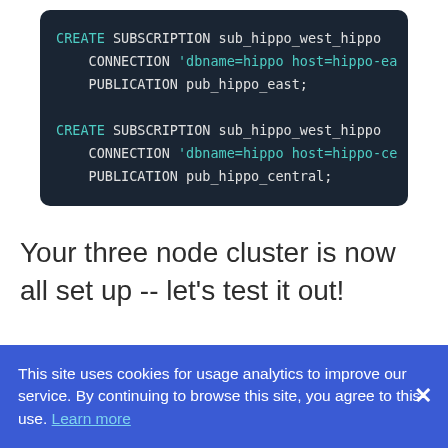[Figure (screenshot): Dark-themed code block showing two CREATE SUBSCRIPTION SQL statements with CONNECTION and PUBLICATION clauses for hippo west cluster subscribing to hippo east and hippo central publications.]
Your three node cluster is now all set up -- let's test it out!
This site uses cookies for usage analytics to improve our service. By continuing to browse this site, you agree to this use. Learn more